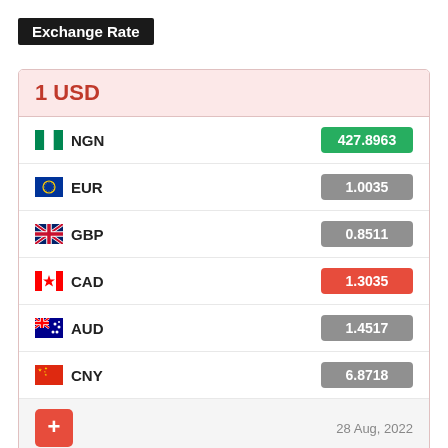Exchange Rate
| Currency | Rate |
| --- | --- |
| 1 USD |  |
| NGN | 427.8963 |
| EUR | 1.0035 |
| GBP | 0.8511 |
| CAD | 1.3035 |
| AUD | 1.4517 |
| CNY | 6.8718 |
|  | 28 Aug, 2022 |
Exchange Rates